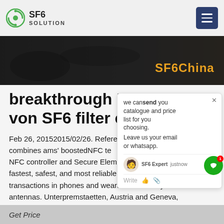SF6 SOLUTION
[Figure (screenshot): Dark hero banner image with 'SF6China' text overlay in orange]
breakthrough Liefe von SF6 filter cost
Feb 26, 20152015/02/26. Reference combines ams' boostedNFC te NFC controller and Secure Element fastest, safest, and most reliable secure contactless transactions in phones and wearables with tiny antennas. Unterpremstaetten, Austria and Geneva, Switzerland (26 February, 2015), -- ams AG (SIX: AMS), a leading
[Figure (screenshot): Chat popup overlay with message: we can send you catalogue and price list for you choosing. Leave us your email or whatsapp. SF6 Expert just now. Write input area.]
Get Price